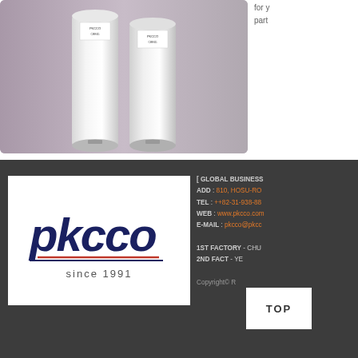[Figure (photo): Two white cylindrical capacitors on a gray background]
for y... part...
[Figure (logo): PKCCO company logo with 'since 1991' text]
[ GLOBAL BUSINESS
ADD : 810, HOSU-RO
TEL : ++82-31-938-88
WEB : www.pkcco.com
E-MAIL : pkcco@pkcc
1ST FACTORY - CHU
2ND FACT - YE
Copyright© R